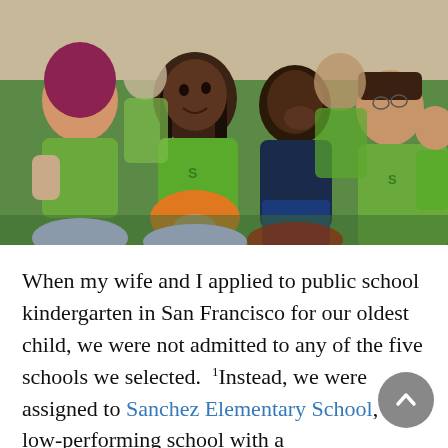[Figure (photo): Group of elementary school children wearing green t-shirts with 'SA' logo, sitting on a floor and looking attentively at something off-camera. Several children visible including a girl with long braids in the foreground, a boy resting his head on his hand, and others in the background.]
When my wife and I applied to public school kindergarten in San Francisco for our oldest child, we were not admitted to any of the five schools we selected. 1 Instead, we were assigned to Sanchez Elementary School, a low-performing school with a